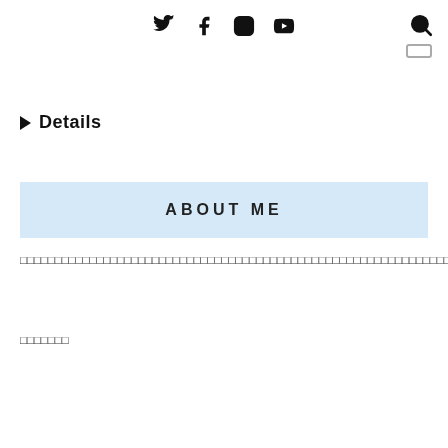Social media icons: Twitter, Facebook, Instagram, YouTube; Search icon
▶ Details
ABOUT ME
□□□□□□□□□□□□□□□□□□□□□□□□□□□□□□□□□□□□□□□□□□□□□□□□□□□□□□□□□□□□□□□□□□□□□□□□□□□□□□□□□□□□□□□□□□□□□□□□□□□□□□□□□□□□□□□□□□□□□□□□□□□□□□□□□□□□□□□□□□□□□□□□□□□□□□□□□□□□□□□□□□□□□□□□□□□□□□□□□□□□□□□□□□□□□□□□□□□□□□□□□□□□□□□□□□□□□□□□□□□□□□□□□□□□□□□□□□□□□□□□□□□□□□□□□□□□□□□□□□□□□□
□□□□□□□